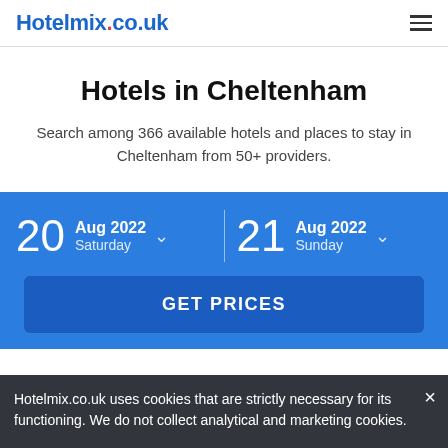Hotelmix.co.uk
Hotels in Cheltenham
Search among 366 available hotels and places to stay in Cheltenham from 50+ providers.
20 Aug 2022 Saturday
21 Aug 2022 Sunday
GET PRICES
Hotelmix.co.uk uses cookies that are strictly necessary for its functioning. We do not collect analytical and marketing cookies.